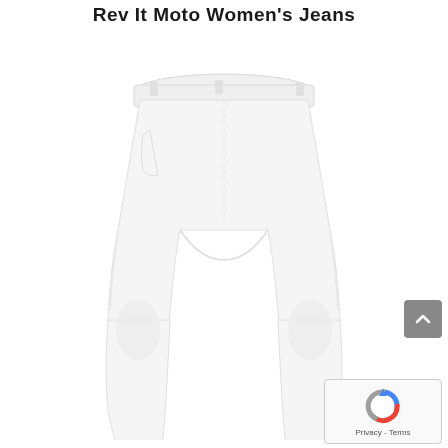Rev It Moto Women's Jeans
[Figure (photo): Product image of Rev It Moto Women's Jeans in white, showing the pants from a three-quarter rear angle against a white background.]
[Figure (other): Gray scroll-to-top button with upward arrow chevron icon.]
[Figure (other): reCAPTCHA widget showing Google reCAPTCHA logo with 'Privacy - Terms' link text.]